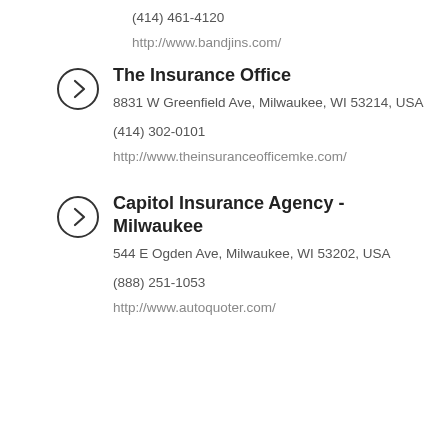(414) 461-4120
http://www.bandjins.com/
The Insurance Office
8831 W Greenfield Ave, Milwaukee, WI 53214, USA
(414) 302-0101
http://www.theinsuranceofficemke.com/
Capitol Insurance Agency - Milwaukee
544 E Ogden Ave, Milwaukee, WI 53202, USA
(888) 251-1053
http://www.autoquoter.com/